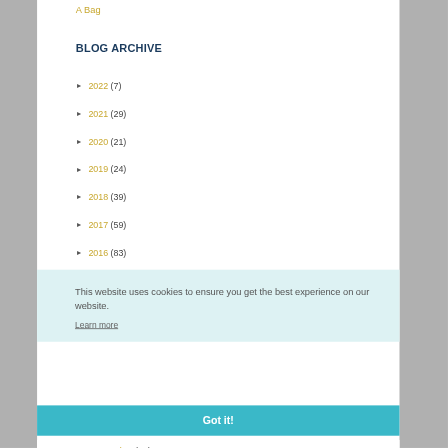A Bag
BLOG ARCHIVE
► 2022 (7)
► 2021 (29)
► 2020 (21)
► 2019 (24)
► 2018 (39)
► 2017 (59)
► 2016 (83)
This website uses cookies to ensure you get the best experience on our website. Learn more
Got it!
► November (21)